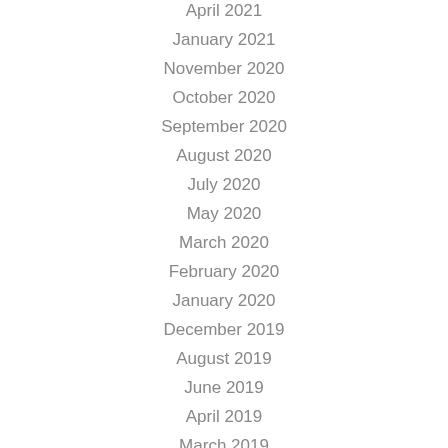April 2021
January 2021
November 2020
October 2020
September 2020
August 2020
July 2020
May 2020
March 2020
February 2020
January 2020
December 2019
August 2019
June 2019
April 2019
March 2019